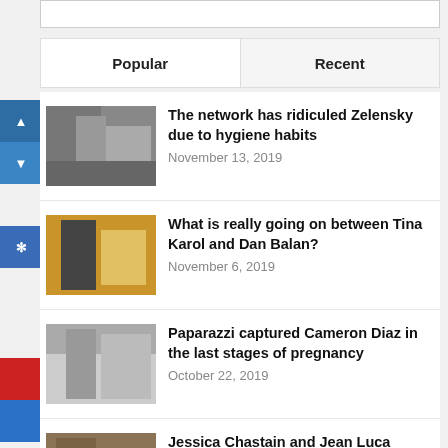Popular
Recent
The network has ridiculed Zelensky due to hygiene habits — November 13, 2019
What is really going on between Tina Karol and Dan Balan? — November 6, 2019
Paparazzi captured Cameron Diaz in the last stages of pregnancy — October 22, 2019
Jessica Chastain and Jean Luca Passi first showed daughter — October 15, 2019